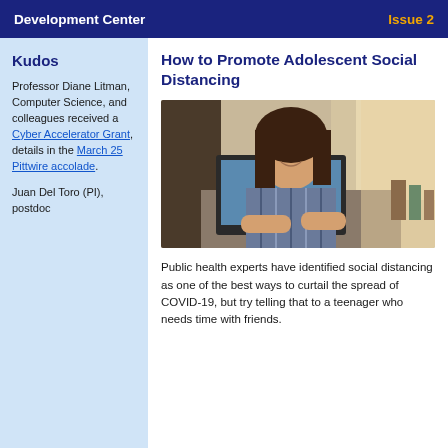Development Center   Issue 2
Kudos
Professor Diane Litman, Computer Science, and colleagues received a Cyber Accelerator Grant, details in the March 25 Pittwire accolade.
Juan Del Toro (PI), postdoc
How to Promote Adolescent Social Distancing
[Figure (photo): A smiling teenage girl working on a laptop computer indoors]
Public health experts have identified social distancing as one of the best ways to curtail the spread of COVID-19, but try telling that to a teenager who needs time with friends.